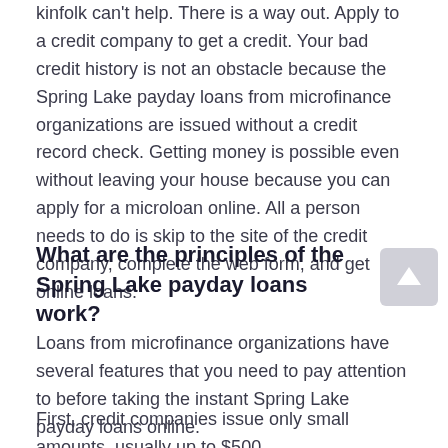kinfolk can't help. There is a way out. Apply to a credit company to get a credit. Your bad credit history is not an obstacle because the Spring Lake payday loans from microfinance organizations are issued without a credit record check. Getting money is possible even without leaving your house because you can apply for a microloan online. All a person needs to do is skip to the site of the credit company, complete the web form, and get online loans.
What are the principles of the Spring Lake payday loans work?
Loans from microfinance organizations have several features that you need to pay attention to before taking the instant Spring Lake payday loans online.
First, credit companies issue only small amounts, usually up to $500.